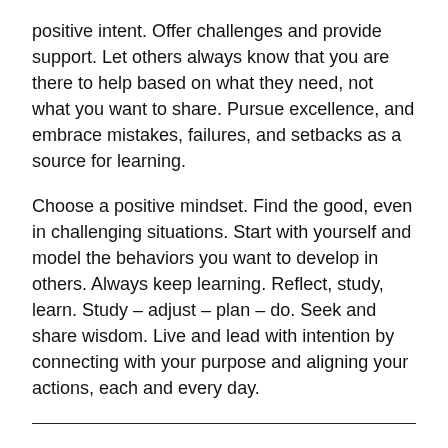positive intent. Offer challenges and provide support. Let others always know that you are there to help based on what they need, not what you want to share. Pursue excellence, and embrace mistakes, failures, and setbacks as a source for learning.
Choose a positive mindset. Find the good, even in challenging situations. Start with yourself and model the behaviors you want to develop in others. Always keep learning. Reflect, study, learn. Study – adjust – plan – do. Seek and share wisdom. Live and lead with intention by connecting with your purpose and aligning your actions, each and every day.
It is believed that a company's culture